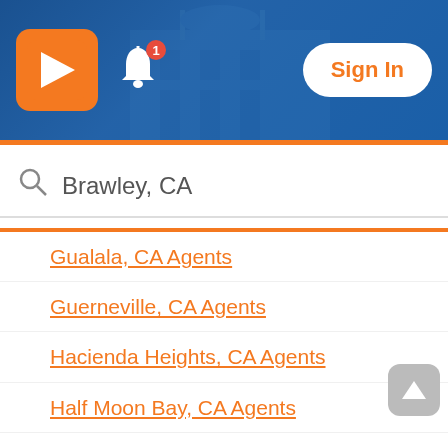[Figure (screenshot): Realtor.com mobile app header with orange R logo, bell notification icon with red badge showing 1, and Sign In button on blue background with building silhouette]
Brawley, CA
Gualala, CA Agents
Guerneville, CA Agents
Hacienda Heights, CA Agents
Half Moon Bay, CA Agents
Hanford, CA Agents
Harbor City, CA Agents
Hawaiian Gardens, CA Agents
Hawthorne, CA Agents
Hayward, CA Agents
Hemet, CA Agents
Hercules, CA Agents
Hermosa Beach, CA Agents